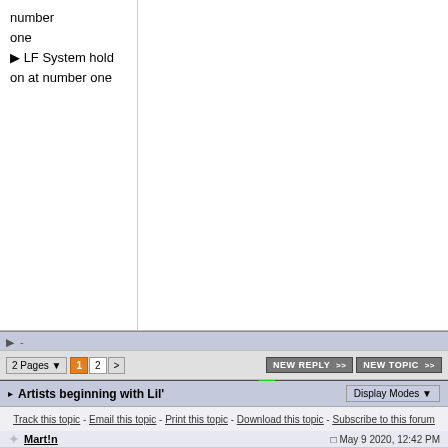number one
▶ LF System hold on at number one
[Figure (screenshot): UK Chart Check forum banner with Union Jack 'UK' logo and 'CHART CH' text, numbers 01-13 and 21-40 visible, green upward arrow]
2 Pages ▼  1  2  >    NEW REPLY >>    NEW TOPIC >>
▸ Artists beginning with Lil'
Track this topic - Email this topic - Print this topic - Download this topic - Subscribe to this forum
✦ Mart!n    □ May 9 2020, 12:42 PM